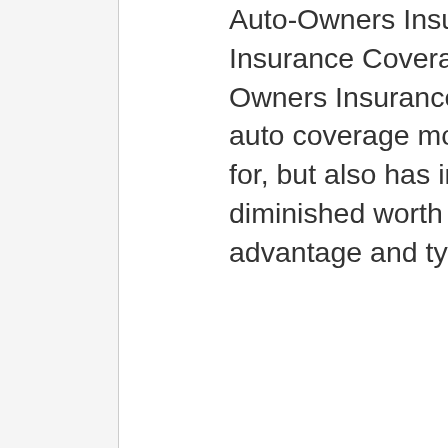Auto-Owners Insurance Coverage Co Insurance Coverage Characteristics, Auto-Owners Insurance coverage uses the basic auto coverage most business are understood for, but also has included benefits like diminished worth defense, crash coverage advantage and typical loss deductible features.
Optional protection if you require support including altering a tire, running out of gas, locking your secrets in the cars and truck, dead battery and more. If your car is amounted to in an accident and the value is less than your remaining